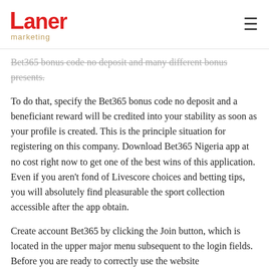Laner marketing
Bet365 bonus code no deposit and many different bonus presents.
To do that, specify the Bet365 bonus code no deposit and a beneficiant reward will be credited into your stability as soon as your profile is created. This is the principle situation for registering on this company. Download Bet365 Nigeria app at no cost right now to get one of the best wins of this application. Even if you aren't fond of Livescore choices and betting tips, you will absolutely find pleasurable the sport collection accessible after the app obtain.
Create account Bet365 by clicking the Join button, which is located in the upper major menu subsequent to the login fields. Before you are ready to correctly use the website